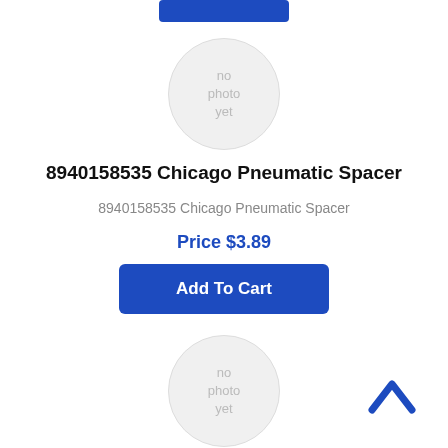[Figure (other): Blue Add To Cart button at top (partially visible)]
[Figure (other): Circular placeholder image with text 'no photo yet']
8940158535 Chicago Pneumatic Spacer
8940158535 Chicago Pneumatic Spacer
Price $3.89
[Figure (other): Blue Add To Cart button]
[Figure (other): Circular placeholder image with text 'no photo yet' (second product)]
[Figure (other): Blue upward chevron arrow icon (back to top)]